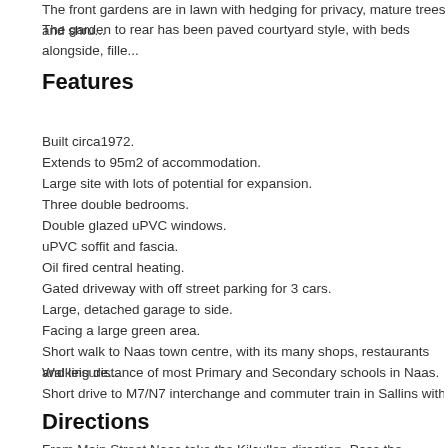The front gardens are in lawn with hedging for privacy, mature trees and shru...
The garden to rear has been paved courtyard style, with beds alongside, fille...
Features
Built circa1972.
Extends to 95m2 of accommodation.
Large site with lots of potential for expansion.
Three double bedrooms.
Double glazed uPVC windows.
uPVC soffit and fascia.
Oil fired central heating.
Gated driveway with off street parking for 3 cars.
Large, detached garage to side.
Facing a large green area.
Short walk to Naas town centre, with its many shops, restaurants and leisure...
Walking distance of most Primary and Secondary schools in Naas.
Short drive to M7/N7 interchange and commuter train in Sallins with easy acc...
Directions
From Main Street Naas take the Kilcullen direction. Pass the...